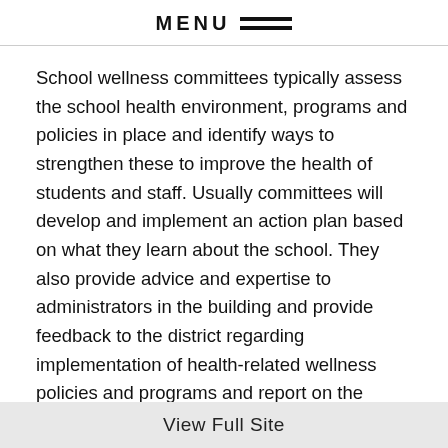MENU
School wellness committees typically assess the school health environment, programs and policies in place and identify ways to strengthen these to improve the health of students and staff. Usually committees will develop and implement an action plan based on what they learn about the school. They also provide advice and expertise to administrators in the building and provide feedback to the district regarding implementation of health-related wellness policies and programs and report on the content and implementation to the public (including parents, students and the community members).
View Full Site